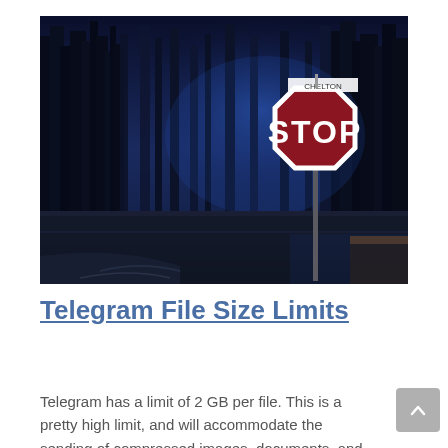[Figure (photo): A nighttime photograph of a red STOP sign at a road intersection, surrounded by dark trees with a blue-tinted atmosphere. A street name sign is mounted above the stop sign. The road curves in the foreground.]
Telegram File Size Limits
Telegram has a limit of 2 GB per file. This is a pretty high limit, and will accommodate the sending of compressed images, documents, and